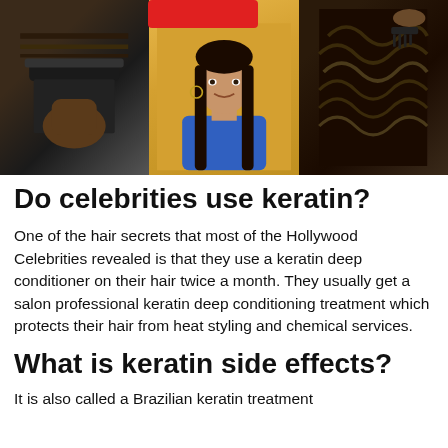[Figure (photo): A collage of three hair-related photos: left shows hair being straightened with a flat iron, center shows a young woman with long straight dark hair on a yellow background, right shows dark curly hair being combed. A red banner/bar overlays the top center.]
Do celebrities use keratin?
One of the hair secrets that most of the Hollywood Celebrities revealed is that they use a keratin deep conditioner on their hair twice a month. They usually get a salon professional keratin deep conditioning treatment which protects their hair from heat styling and chemical services.
What is keratin side effects?
It is also called a Brazilian keratin treatment